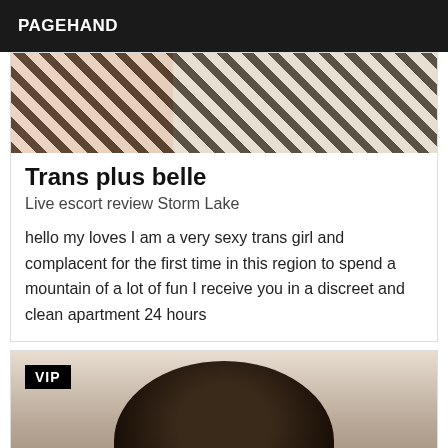PAGEHAND
[Figure (photo): Top portion of a person wearing a zebra-print outfit, cropped at the torso level]
Trans plus belle
Live escort review Storm Lake
hello my loves I am a very sexy trans girl and complacent for the first time in this region to spend a mountain of a lot of fun I receive you in a discreet and clean apartment 24 hours
[Figure (photo): Person with dark curly hair, head bowed down, with VIP badge overlay in top-left corner]